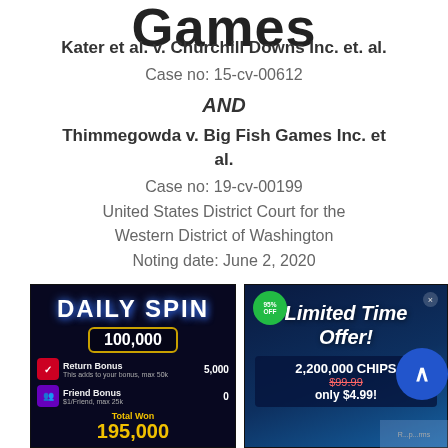Games
Kater et al. v. Churchill Downs Inc. et. al.
Case no: 15-cv-00612
AND
Thimmegowda v. Big Fish Games Inc. et al.
Case no: 19-cv-00199
United States District Court for the Western District of Washington
Noting date: June 2, 2020
[Figure (screenshot): Daily Spin screen showing 100,000 coins, Return Bonus 5,000, Friend Bonus 0, Total Won 195,000]
[Figure (screenshot): Limited Time Offer screen showing 95% OFF badge, 2,200,000 CHIPS, original price $99.99 crossed out, only $4.99]